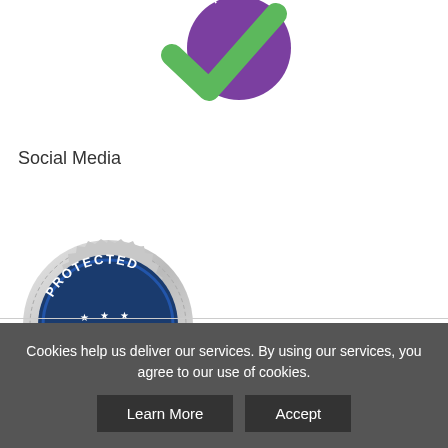[Figure (logo): Green checkmark with purple circle badge labeled PROMISE - top portion visible]
Social Media
[Figure (logo): Silver scalloped badge with blue circle reading PROTECTED at top, 100% SECURE in large text on ribbon, PAYMENTS at bottom with stars]
[Figure (infographic): Row of social media icons: Facebook (blue), Twitter (blue), Pinterest (red), YouTube (red), LinkedIn (blue), RSS (orange), Email (green)]
Cookies help us deliver our services. By using our services, you agree to our use of cookies.
Learn More
Accept